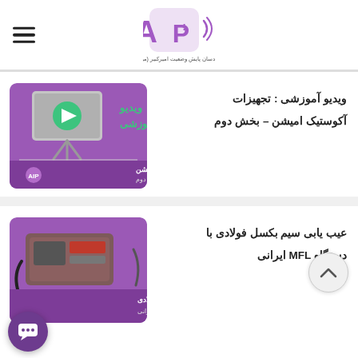AIP logo header with hamburger menu
ویدیو آموزشی : تجهیزات آکوستیک امیشن – بخش دوم
[Figure (screenshot): Purple thumbnail for educational video about Acoustic Emission equipment, part 2, with AIP logo]
عیب یابی سیم بکسل فولادی با دستگاه MFL ایرانی
[Figure (photo): Purple thumbnail for wire rope flaw detection with Iranian MFL device]